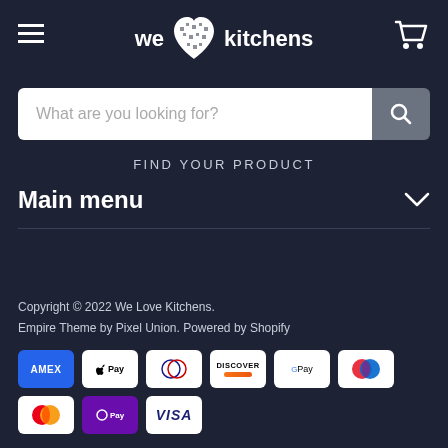[Figure (logo): We Love Kitchens logo with heart icon made of kitchen appliances, white text on dark background]
What are you looking for?
FIND YOUR PRODUCT
Main menu
Copyright © 2022 We Love Kitchens.
Empire Theme by Pixel Union. Powered by Shopify
[Figure (infographic): Payment icons: AMEX, Apple Pay, Diners Club, Discover, Google Pay, Maestro, Mastercard, OPay, VISA]